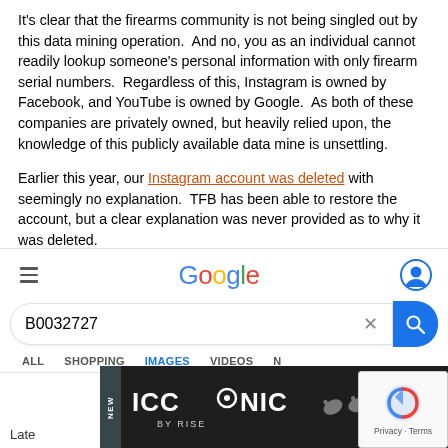It's clear that the firearms community is not being singled out by this data mining operation.  And no, you as an individual cannot readily lookup someone's personal information with only firearm serial numbers.  Regardless of this, Instagram is owned by Facebook, and YouTube is owned by Google.  As both of these companies are privately owned, but heavily relied upon, the knowledge of this publicly available data mine is unsettling.
Earlier this year, our Instagram account was deleted with seemingly no explanation.  TFB has been able to restore the account, but a clear explanation was never provided as to why it was deleted.
[Figure (screenshot): Screenshot of a Google search on mobile showing the query 'B0032727' typed into the search bar, with search tabs (ALL, SHOPPING, IMAGES, VIDEOS) visible below, and an advertisement banner for ICONIC BY RISE at the bottom, with a reCAPTCHA overlay in the bottom-right corner.]